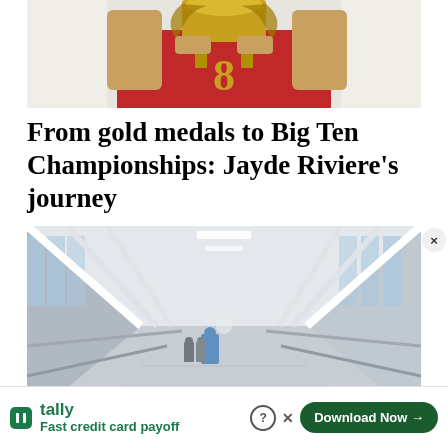[Figure (photo): Person in red jersey with number 8 holding a gold trophy, cropped to show torso and hands only]
From gold medals to Big Ten Championships: Jayde Riviere’s journey
[Figure (photo): Long modern hospital or university corridor with large windows, white structural beams, and a person in blue walking away down the hallway]
Fast credit card payoff
tally
Download Now →